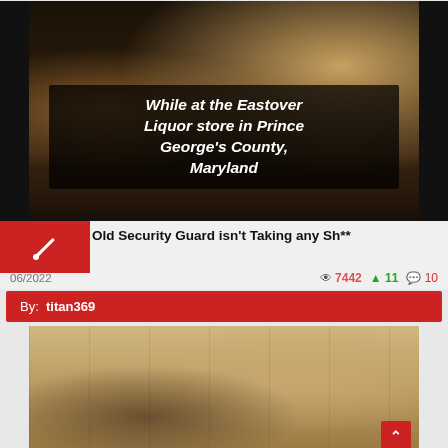[Figure (screenshot): Video screenshot of the inside of Eastover Liquor store in Prince George's County, Maryland with overlay text]
Old Security Guard isn't Taking any Sh**
06/2022   👁 7442  ↑ 11  💬 10
By: titan369
[Figure (screenshot): Second video screenshot showing interior of a store through glass doors with a person visible]